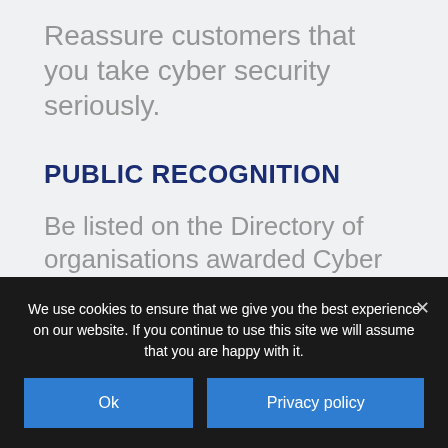Reassure customers that you take cyber security seriously.
PUBLIC RECOGNITION
Be listed on the Directory of organisations awarded Cyber Essentials.
NEW BUSINESS
We use cookies to ensure that we give you the best experience on our website. If you continue to use this site we will assume that you are happy with it.